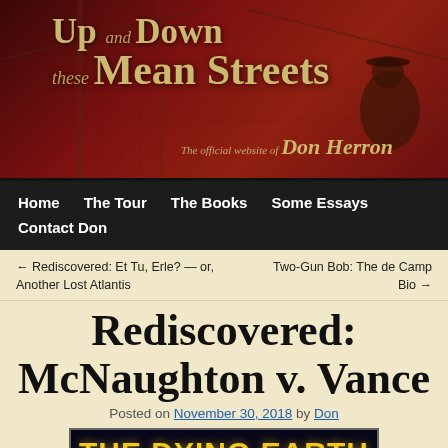[Figure (screenshot): Website header banner for 'Up and Down these Mean Streets', the official website of Don Herron. Dark red background with golden text and bridge silhouette.]
Home   The Tour   The Books   Some Essays
Contact Don
← Rediscovered: Et Tu, Erle? — or, Another Lost Atlantis   Two-Gun Bob: The de Camp Bio →
Rediscovered: McNaughton v. Vance
Posted on November 30, 2018 by Don
[Figure (photo): Book cover of 'The Dying Earth' — 25 cents, dark background with glowing orb/planet.]